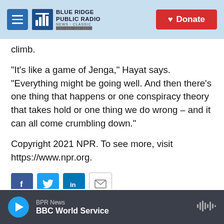Blue Ridge Public Radio — Donate
climb.
"It's like a game of Jenga," Hayat says. "Everything might be going well. And then there's one thing that happens or one conspiracy theory that takes hold or one thing we do wrong – and it can all come crumbling down."
Copyright 2021 NPR. To see more, visit https://www.npr.org.
[Figure (infographic): Social share buttons: Facebook, Twitter, LinkedIn, Email]
BPR News — BBC World Service (audio player)